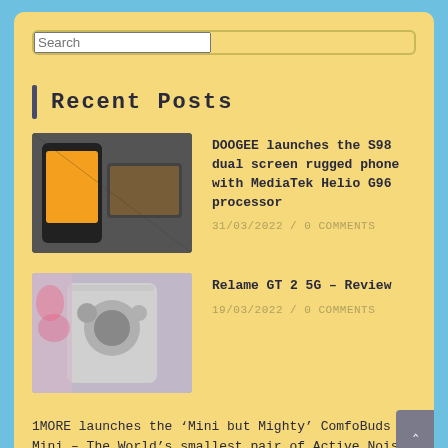Search
Recent Posts
[Figure (photo): DOOGEE S98 rugged phone thumbnail image showing dual screen phone on surface]
DOOGEE launches the S98 dual screen rugged phone with MediaTek Helio G96 processor
31/03/2022 / 0 COMMENTS
[Figure (photo): Realme GT 2 5G phone rear camera module close-up thumbnail]
Relame GT 2 5G – Review
19/03/2022 / 0 COMMENTS
1MORE launches the ‘Mini but Mighty’ ComfoBuds Mini – The World’s smallest pair of Active Noise Cancelling True Wireless earbuds